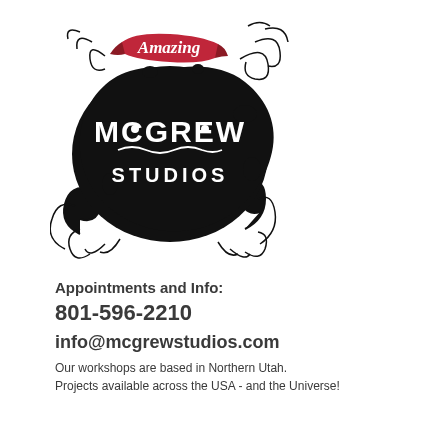[Figure (logo): Amazing McGrew Studios logo — a red ribbon banner reading 'Amazing' in script over a black ink splat shape with decorative floral/scroll flourishes, containing white text 'McGREW STUDIOS']
Appointments and Info:
801-596-2210
info@mcgrewstudios.com
Our workshops are based in Northern Utah.
Projects available across the USA - and the Universe!